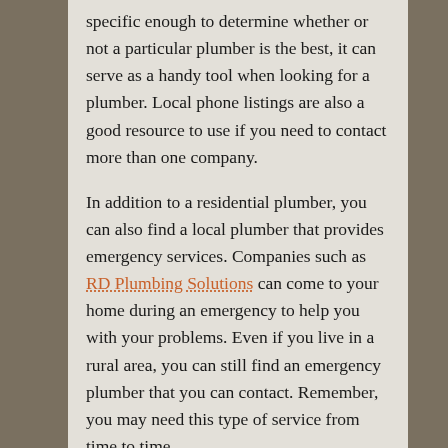specific enough to determine whether or not a particular plumber is the best, it can serve as a handy tool when looking for a plumber. Local phone listings are also a good resource to use if you need to contact more than one company.
In addition to a residential plumber, you can also find a local plumber that provides emergency services. Companies such as RD Plumbing Solutions can come to your home during an emergency to help you with your problems. Even if you live in a rural area, you can still find an emergency plumber that you can contact. Remember, you may need this type of service from time to time.